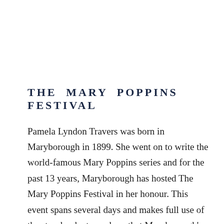THE MARY POPPINS FESTIVAL
Pamela Lyndon Travers was born in Maryborough in 1899. She went on to write the world-famous Mary Poppins series and for the past 13 years, Maryborough has hosted The Mary Poppins Festival in her honour. This event spans several days and makes full use of the storybook atmosphere that Maryborough's heritage buildings evoke. With a mixture of storytelling programs, competitions, parades, concerts and other creative Poppins-